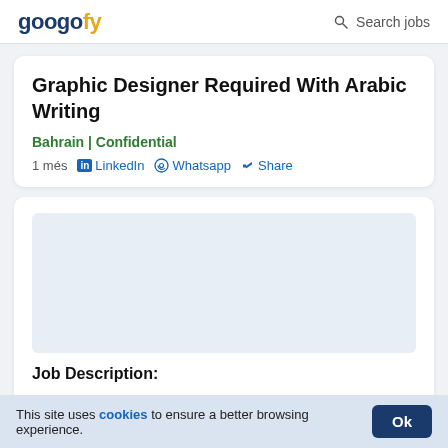googofy  Search jobs
Graphic Designer Required With Arabic Writing
Bahrain | Confidential
1 més  in LinkedIn  Whatsapp  Share
Job Description:
Urgently Required Graphics Designer 1) Good Command in Photoshop and Illustrator 2) Good in Arabic Typing and After Effects
This site uses cookies to ensure a better browsing experience.  Ok